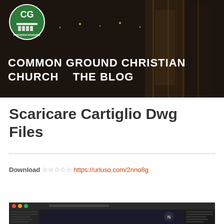[Figure (screenshot): Header banner of Common Ground Christian Church blog with dark atmospheric background, circle logo with 'CG' and 'Fredericksburg' text]
COMMON GROUND CHRISTIAN CHURCH – THE BLOG
Scaricare Cartiglio Dwg Files
Download ☆☆☆☆☆ https://urluso.com/2nno8g
[Figure (screenshot): Partial screenshot of a CAD or mapping software interface with dark toolbar]